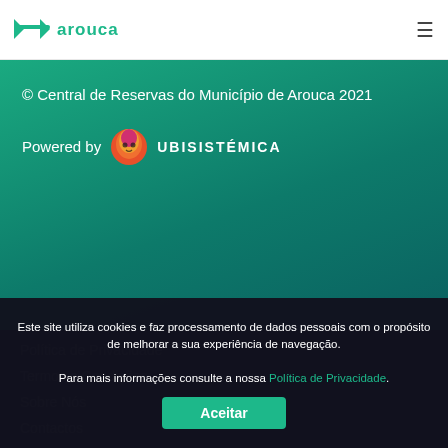arouca
© Central de Reservas do Município de Arouca 2021
Powered by UBISISTÉMICA
Política de Privacidade
Termos e Condições
Sobre Nós
Contactos
Este site utiliza cookies e faz processamento de dados pessoais com o propósito de melhorar a sua experiência de navegação.
Para mais informações consulte a nossa Política de Privacidade.
Aceitar